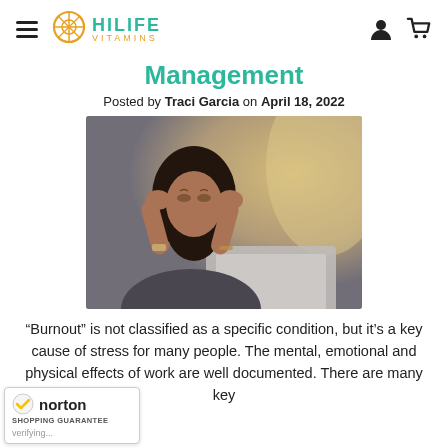HILIFE VITAMINS
Management
Posted by Traci Garcia on April 18, 2022
[Figure (photo): Woman sitting at a laptop with hands pressed to her temples, appearing stressed]
“Burnout” is not classified as a specific condition, but it’s a key cause of stress for many people. The mental, emotional and physical effects of work are well documented. There are many key